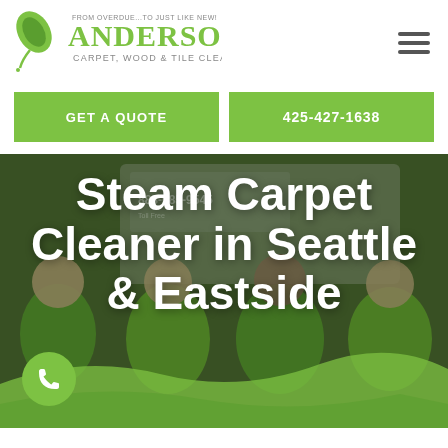[Figure (logo): Anderson Carpet, Wood & Tile Cleaning logo with green leaf and cursive/sans text. Tagline: FROM OVERDUE...TO JUST LIKE NEW!]
GET A QUOTE
425-427-1638
[Figure (photo): Group photo of Anderson cleaning crew in green shirts, smiling in front of a company van.]
Steam Carpet Cleaner in Seattle & Eastside